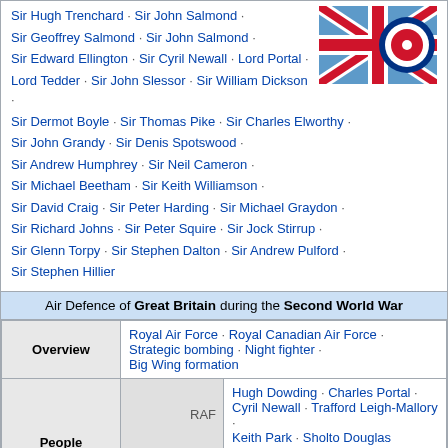Sir Hugh Trenchard · Sir John Salmond · Sir Geoffrey Salmond · Sir John Salmond · Sir Edward Ellington · Sir Cyril Newall · Lord Portal · Lord Tedder · Sir John Slessor · Sir William Dickson · Sir Dermot Boyle · Sir Thomas Pike · Sir Charles Elworthy · Sir John Grandy · Sir Denis Spotswood · Sir Andrew Humphrey · Sir Neil Cameron · Sir Michael Beetham · Sir Keith Williamson · Sir David Craig · Sir Peter Harding · Sir Michael Graydon · Sir Richard Johns · Sir Peter Squire · Sir Jock Stirrup · Sir Glenn Torpy · Sir Stephen Dalton · Sir Andrew Pulford · Sir Stephen Hillier
[Figure (illustration): Royal Air Force roundel flag]
| Air Defence of Great Britain during the Second World War |
| --- |
| Overview |  | Royal Air Force · Royal Canadian Air Force · Strategic bombing · Night fighter · Big Wing formation |
| People | RAF | Hugh Dowding · Charles Portal · Cyril Newall · Trafford Leigh-Mallory · Keith Park · Sholto Douglas |
| People | Army | Frederick Pile |
| People | Scientists | R. V. Jones · Robert Watson-Watt |
|  |  | RAF Fighter Command · |